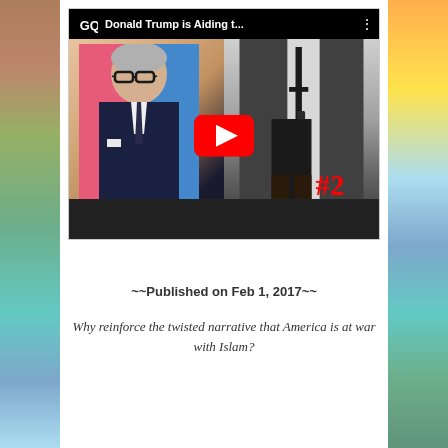[Figure (screenshot): YouTube video thumbnail showing GQ channel with title 'Donald Trump is Aiding t...' featuring a man in a suit on the left half and a person holding a rifle on the right half, with a red YouTube play button in the center]
~~Published on Feb 1, 2017~~
Why reinforce the twisted narrative that America is at war with Islam?